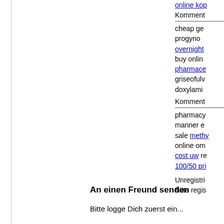online kop...
Komment
cheap gen... progyno... overnight buy online pharmace... griseofulv... doxylamin...
Komment
pharmacy manner eu sale methy... online om... cost uw re... 100/50 pri...
Unregistri... Bitte regis...
An einen Freund senden
Bitte logge Dich zuerst ein...